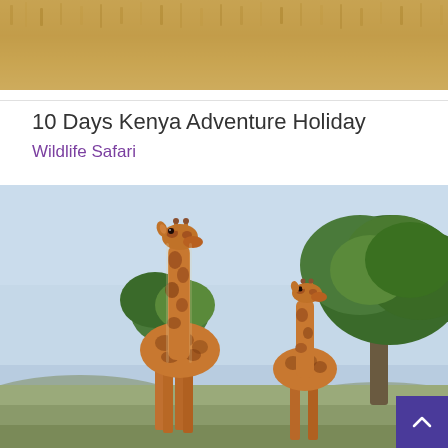[Figure (photo): Top portion of a savanna grassland landscape with golden/tan dry grass texture]
10 Days Kenya Adventure Holiday
Wildlife Safari
[Figure (photo): Two giraffes with brown and white patterned coats standing in front of a large green tree against a light blue sky, with rolling hills in the background — Kenya wildlife safari scene]